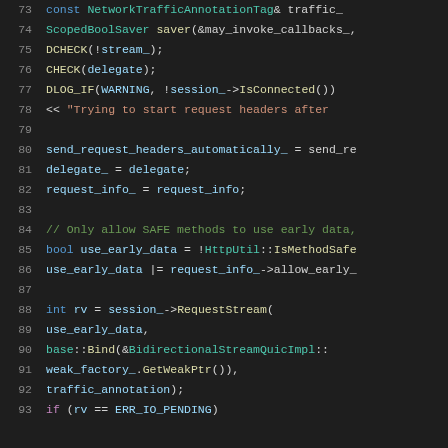[Figure (screenshot): Source code screenshot showing C++ code lines 73–93 in a dark-themed code editor. Lines show NetworkTrafficAnnotationTag, ScopedBoolSaver, DCHECK, CHECK, DLOG_IF, session request headers, send_request_headers_automatically, delegate_, request_info_, use_early_data, HttpUtil::IsMethodSafe, session_->RequestStream, base::Bind, weak_factory_.GetWeakPtr(), traffic_annotation, and ERR_IO_PENDING checks.]